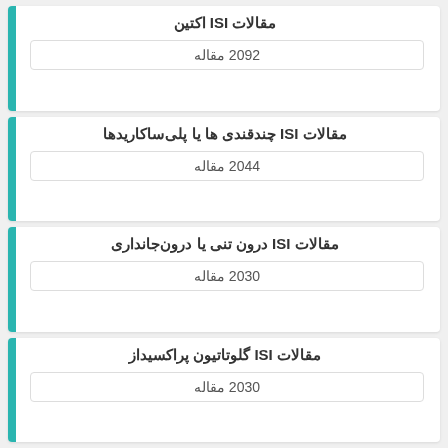مقالات ISI اکتین
2092 مقاله
مقالات ISI چندقندی ها یا پلی‌ساکاریدها
2044 مقاله
مقالات ISI درون تنی یا درون‌جانداری
2030 مقاله
مقالات ISI گلوتاتیون پراکسیداز
2030 مقاله